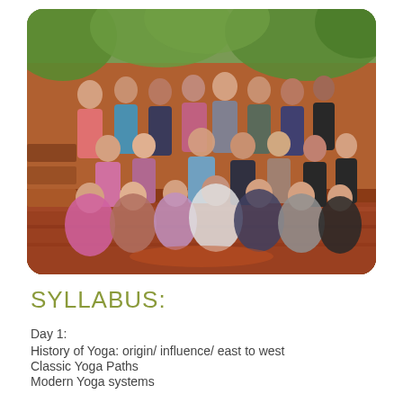[Figure (photo): Group photo of approximately 25-30 people in athletic/yoga wear, seated and standing on a wooden deck with tropical green foliage in the background.]
SYLLABUS:
Day 1:
History of Yoga: origin/ influence/ east to west
Classic Yoga Paths
Modern Yoga systems